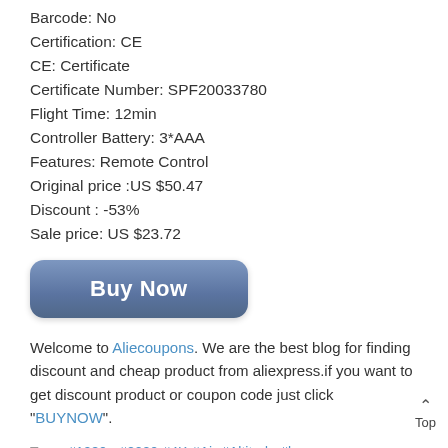Barcode: No
Certification: CE
CE: Certificate
Certificate Number: SPF20033780
Flight Time: 12min
Controller Battery: 3*AAA
Features: Remote Control
Original price :US $50.47
Discount : -53%
Sale price: US $23.72
[Figure (other): Buy Now button - a rounded rectangle button with blue/slate gradient color and white bold text reading 'Buy Now']
Welcome to Aliecoupons. We are the best blog for finding discount and cheap product from aliexpress.if you want to get discount product or coupon code just click "BUYNOW".
Tags: #1080p #2020 #4K #Air #Altitude #boy #câmera #Dron #Drone #Dual #Foldable #For #FPV #gps #hd #Hold #mini #New #Pressur #Quadcopter #RC #Toys #wifi #XT6